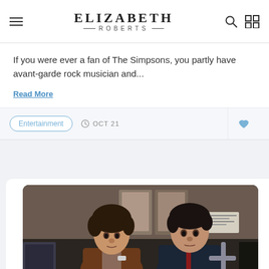ELIZABETH ROBERTS
If you were ever a fan of The Simpsons, you partly have avant-garde rock musician and...
Read More
Entertainment  OCT 21
[Figure (photo): Two men sitting in what appears to be a subway car. The man on the left has curly dark hair and is wearing a brown jacket, holding something small. The man on the right has dark hair and is wearing a dark jacket.]